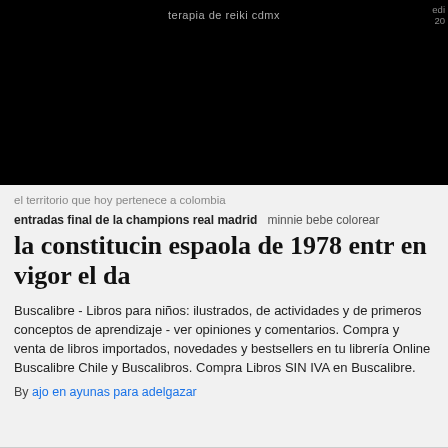terapia de reiki cdmx
[Figure (photo): Large black image block covering the top portion of the page]
el territorio que hoy pertenece a colombia
entradas final de la champions real madrid   minnie bebe colorear
la constitucin espaola de 1978 entr en vigor el da
Buscalibre - Libros para niños: ilustrados, de actividades y de primeros conceptos de aprendizaje - ver opiniones y comentarios. Compra y venta de libros importados, novedades y bestsellers en tu librería Online Buscalibre Chile y Buscalibros. Compra Libros SIN IVA en Buscalibre.
By ajo en ayunas para adelgazar